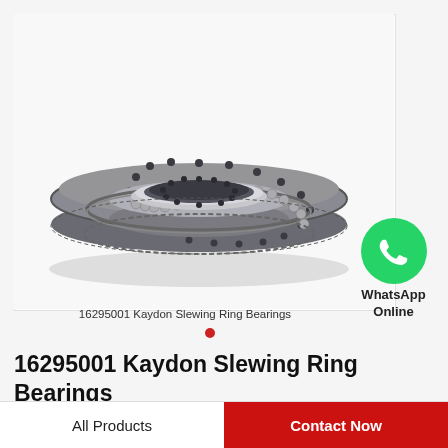[Figure (photo): Photo of a large Kaydon slewing ring bearing — a heavy steel annular ring with bolt holes and gear teeth around the outer edge, viewed from a slight angle above.]
[Figure (illustration): WhatsApp logo icon — green circle with white phone handset silhouette.]
WhatsApp Online
16295001 Kaydon Slewing Ring Bearings
16295001 Kaydon Slewing Ring Bearings
All Products
Contact Now